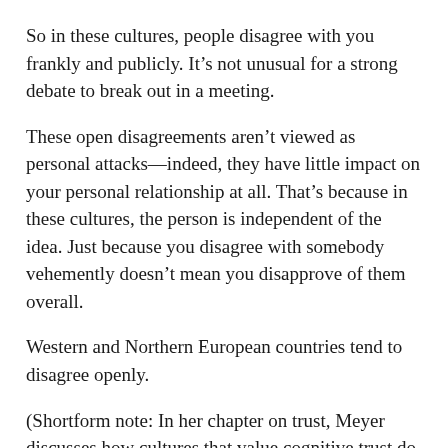So in these cultures, people disagree with you frankly and publicly. It’s not unusual for a strong debate to break out in a meeting.
These open disagreements aren’t viewed as personal attacks—indeed, they have little impact on your personal relationship at all. That’s because in these cultures, the person is independent of the idea. Just because you disagree with somebody vehemently doesn’t mean you disapprove of them overall.
Western and Northern European countries tend to disagree openly.
(Shortform note: In her chapter on trust, Meyer discusses how cultures that value cognitive trust do so partly because they have reliable legal systems they can turn to if something goes wrong. This reasoning may have implications on disagreement styles as well. If damaging your personal relationship doesn’t strongly affect your business dealings